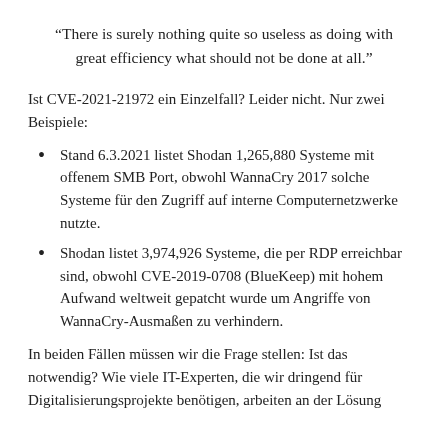“There is surely nothing quite so useless as doing with great efficiency what should not be done at all.”
Ist CVE-2021-21972 ein Einzelfall? Leider nicht. Nur zwei Beispiele:
Stand 6.3.2021 listet Shodan 1,265,880 Systeme mit offenem SMB Port, obwohl WannaCry 2017 solche Systeme für den Zugriff auf interne Computernetzwerke nutzte.
Shodan listet 3,974,926 Systeme, die per RDP erreichbar sind, obwohl CVE-2019-0708 (BlueKeep) mit hohem Aufwand weltweit gepatcht wurde um Angriffe von WannaCry-Ausmaßen zu verhindern.
In beiden Fällen müssen wir die Frage stellen: Ist das notwendig? Wie viele IT-Experten, die wir dringend für Digitalisierungsprojekte benötigen, arbeiten an der Lösung